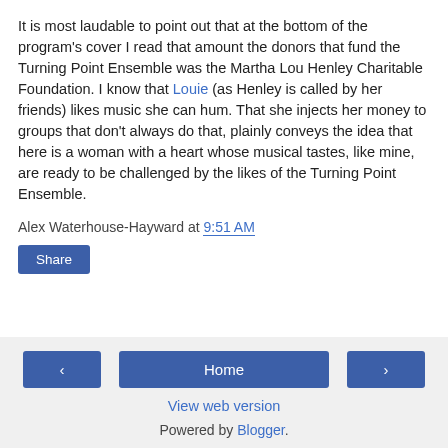It is most laudable to point out that at the bottom of the program's cover I read that amount the donors that fund the Turning Point Ensemble was the Martha Lou Henley Charitable Foundation. I know that Louie (as Henley is called by her friends) likes music she can hum. That she injects her money to groups that don't always do that, plainly conveys the idea that here is a woman with a heart whose musical tastes, like mine, are ready to be challenged by the likes of the Turning Point Ensemble.
Alex Waterhouse-Hayward at 9:51 AM
Share
‹  Home  ›  View web version  Powered by Blogger.